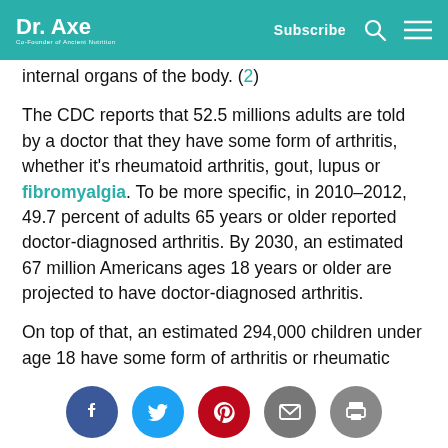Dr. Axe | Co-Founder of Ancient Nutrition | Subscribe
internal organs of the body. (2)
The CDC reports that 52.5 millions adults are told by a doctor that they have some form of arthritis, whether it's rheumatoid arthritis, gout, lupus or fibromyalgia. To be more specific, in 2010–2012, 49.7 percent of adults 65 years or older reported doctor-diagnosed arthritis. By 2030, an estimated 67 million Americans ages 18 years or older are projected to have doctor-diagnosed arthritis.
On top of that, an estimated 294,000 children under age 18 have some form of arthritis or rheumatic condition. This represents